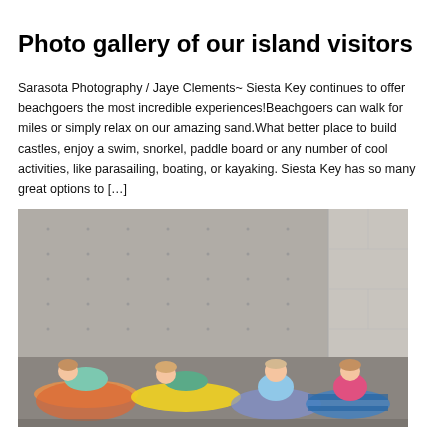Photo gallery of our island visitors
Sarasota Photography / Jaye Clements~ Siesta Key continues to offer beachgoers the most incredible experiences!Beachgoers can walk for miles or simply relax on our amazing sand.What better place to build castles, enjoy a swim, snorkel, paddle board or any number of cool activities, like parasailing, boating, or kayaking. Siesta Key has so many great options to […]
[Figure (photo): Four young children lying and sitting on colorful beach towels on a concrete floor in front of a grey concrete wall.]